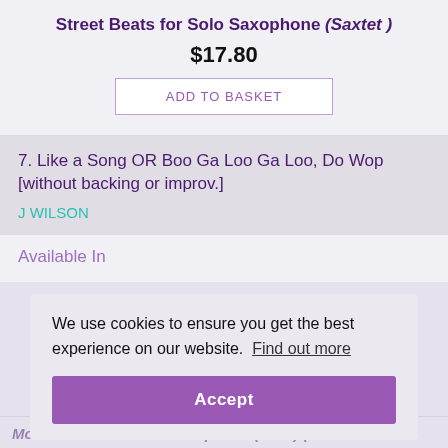Street Beats for Solo Saxophone (Saxtet)
$17.80
ADD TO BASKET
7. Like a Song OR Boo Ga Loo Ga Loo, Do Wop [without backing or improv.]
J WILSON
Available In
We use cookies to ensure you get the best experience on our website.  Find out more
Accept
Modal Workout 02 for Saxophone (+ CD) (Brass